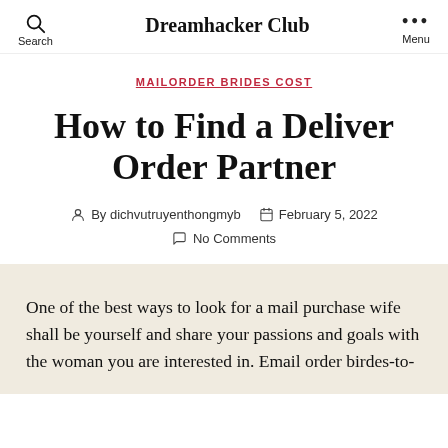Dreamhacker Club
MAILORDER BRIDES COST
How to Find a Deliver Order Partner
By dichvutruyenthongmyb  February 5, 2022  No Comments
One of the best ways to look for a mail purchase wife shall be yourself and share your passions and goals with the woman you are interested in. Email order birdes-to-